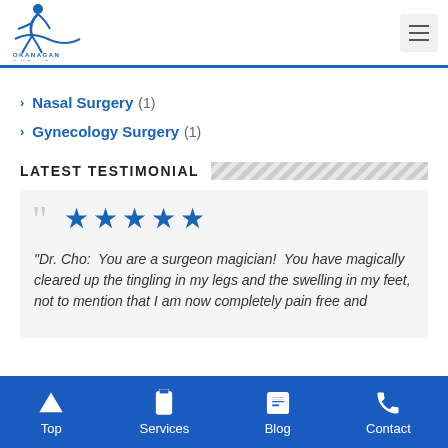[Figure (logo): Okanagan Health Surgical Centre logo with stylized figure and blue text]
Nasal Surgery (1)
Gynecology Surgery (1)
LATEST TESTIMONIAL
"Dr. Cho:  You are a surgeon magician!  You have magically cleared up the tingling in my legs and the swelling in my feet, not to mention that I am now completely pain free and
Top | Services | Blog | Contact